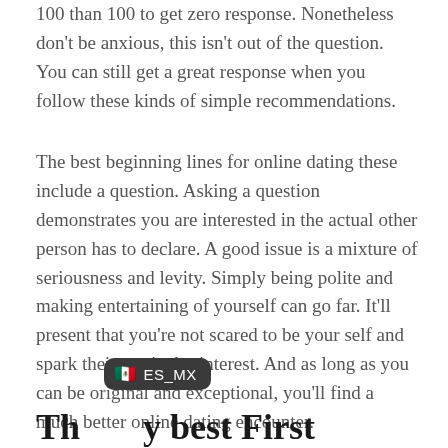100 than 100 to get zero response. Nonetheless don't be anxious, this isn't out of the question. You can still get a great response when you follow these kinds of simple recommendations.
The best beginning lines for online dating these include a question. Asking a question demonstrates you are interested in the actual other person has to declare. A good issue is a mixture of seriousness and levity. Simply being polite and making entertaining of yourself can go far. It'll present that you're not scared to be your self and spark their particular interest. And as long as you can be original and exceptional, you'll find a much better online dating encounter.
[Figure (screenshot): A tooltip/badge overlay showing the flag of Mexico and the text 'ES_MX', displayed in a dark rounded rectangle.]
The      y best First